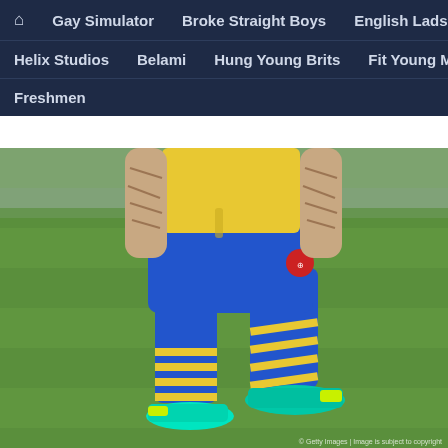🏠 Gay Simulator  Broke Straight Boys  English Lads  Helix Studios  Belami  Hung Young Brits  Fit Young Men  Freshmen
[Figure (photo): A football player from the torso down wearing a yellow Arsenal jersey, blue shorts with Arsenal logo, blue and yellow striped socks, and cyan/yellow Nike boots, walking on a green pitch. Tattooed arms visible. Getty Images watermark in bottom right.]